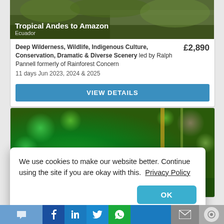[Figure (photo): Tropical forest landscape photo used as card header image with text overlay showing title 'Tropical Andes to Amazon' and subtitle 'Ecuador']
Tropical Andes to Amazon
Ecuador
Deep Wilderness, Wildlife, Indigenous Culture, Conservation, Dramatic & Diverse Scenery led by Ralph Pannell formerly of Rainforest Concern
11 days Jun 2023, 2024 & 2025
£2,890
VIEW DETAILS
[Figure (photo): Close-up photo of a bird (possibly an iguana or blue bird) with green bokeh background]
We use cookies to make our website better. Continue using the site if you are okay with this.  Privacy Policy
OK